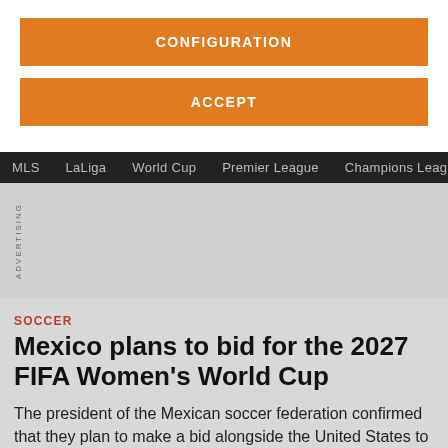CONFIGURATION
ACCEPT
MLS   LaLiga   World Cup   Premier League   Champions League   C
ADVERTISING
SOCCER
Mexico plans to bid for the 2027 FIFA Women's World Cup
The president of the Mexican soccer federation confirmed that they plan to make a bid alongside the United States to host the World Cup in 2027.